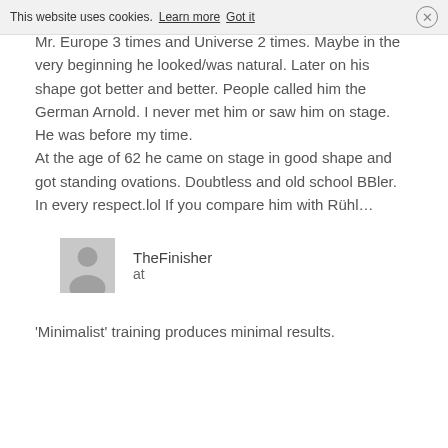This website uses cookies. Learn more  Got it  ×
Mr. Europe 3 times and Universe 2 times. Maybe in the very beginning he looked/was natural. Later on his shape got better and better. People called him the German Arnold. I never met him or saw him on stage. He was before my time.
At the age of 62 he came on stage in good shape and got standing ovations. Doubtless and old school BBler. In every respect.lol If you compare him with Rühl…
TheFinisher
at
'Minimalist' training produces minimal results.